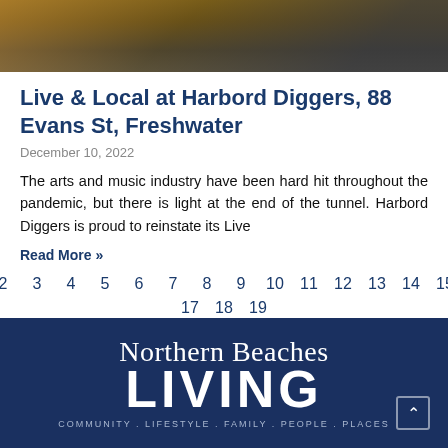[Figure (photo): Photo of a person playing a guitar outdoors, partially cropped at the top of the page.]
Live & Local at Harbord Diggers, 88 Evans St, Freshwater
December 10, 2022
The arts and music industry have been hard hit throughout the pandemic, but there is light at the end of the tunnel. Harbord Diggers is proud to reinstate its Live
Read More »
1 2 3 4 5 6 7 8 9 10 11 12 13 14 15 16 17 18 19
Northern Beaches LIVING · COMMUNITY . LIFESTYLE . FAMILY . PEOPLE . PLACES